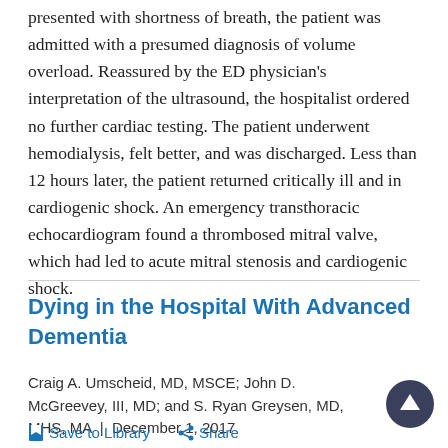presented with shortness of breath, the patient was admitted with a presumed diagnosis of volume overload. Reassured by the ED physician's interpretation of the ultrasound, the hospitalist ordered no further cardiac testing. The patient underwent hemodialysis, felt better, and was discharged. Less than 12 hours later, the patient returned critically ill and in cardiogenic shock. An emergency transthoracic echocardiogram found a thrombosed mitral valve, which had led to acute mitral stenosis and cardiogenic shock.
Dying in the Hospital With Advanced Dementia
Craig A. Umscheid, MD, MSCE; John D. McGreevey, III, MD; and S. Ryan Greysen, MD, MHS, MA | December 1, 2017
Save to Library   Share